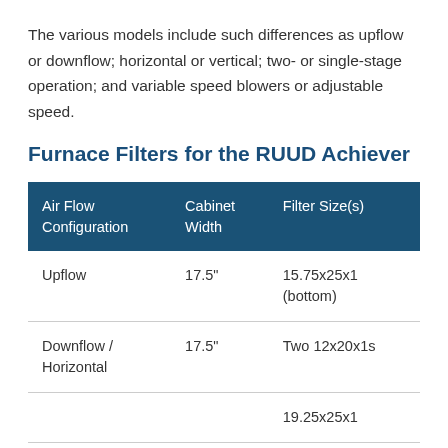The various models include such differences as upflow or downflow; horizontal or vertical; two- or single-stage operation; and variable speed blowers or adjustable speed.
Furnace Filters for the RUUD Achiever
| Air Flow Configuration | Cabinet Width | Filter Size(s) |
| --- | --- | --- |
| Upflow | 17.5" | 15.75x25x1 (bottom) |
| Downflow / Horizontal | 17.5" | Two 12x20x1s |
|  |  | 19.25x25x1 |